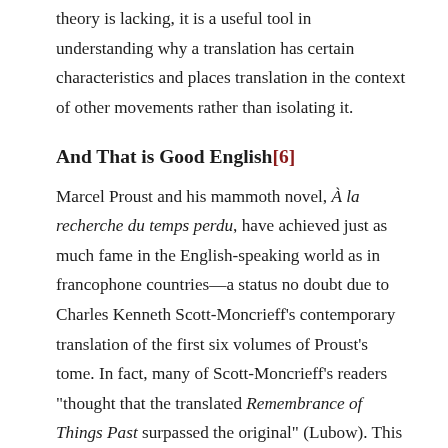theory is lacking, it is a useful tool in understanding why a translation has certain characteristics and places translation in the context of other movements rather than isolating it.
And That is Good English[6]
Marcel Proust and his mammoth novel, À la recherche du temps perdu, have achieved just as much fame in the English-speaking world as in francophone countries—a status no doubt due to Charles Kenneth Scott-Moncrieff's contemporary translation of the first six volumes of Proust's tome. In fact, many of Scott-Moncrieff's readers "thought that the translated Remembrance of Things Past surpassed the original" (Lubow). This belief, however, does not account for the fact that Scott-Moncrieff's